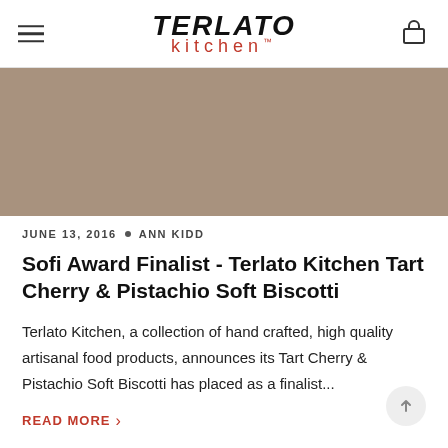TERLATO kitchen™
[Figure (photo): Tan/brown hero image placeholder for Terlato Kitchen article]
JUNE 13, 2016 • ANN KIDD
Sofi Award Finalist - Terlato Kitchen Tart Cherry & Pistachio Soft Biscotti
Terlato Kitchen, a collection of hand crafted, high quality artisanal food products, announces its Tart Cherry & Pistachio Soft Biscotti has placed as a finalist...
READ MORE >